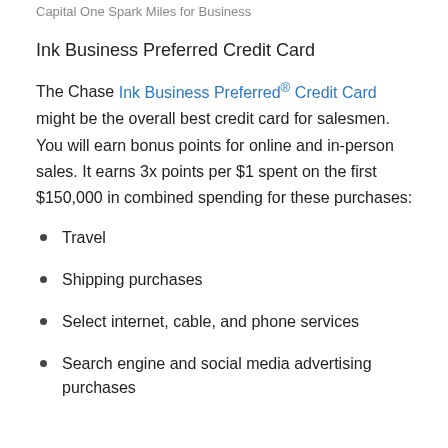Capital One Spark Miles for Business
Ink Business Preferred Credit Card
The Chase Ink Business Preferred® Credit Card might be the overall best credit card for salesmen. You will earn bonus points for online and in-person sales. It earns 3x points per $1 spent on the first $150,000 in combined spending for these purchases:
Travel
Shipping purchases
Select internet, cable, and phone services
Search engine and social media advertising purchases